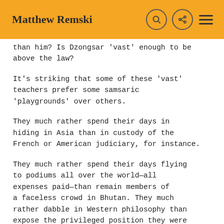Matthew Remski
than him? Is Dzongsar 'vast' enough to be above the law?
It's striking that some of these 'vast' teachers prefer some samsaric 'playgrounds' over others.
They much rather spend their days in hiding in Asia than in custody of the French or American judiciary, for instance.
They much rather spend their days flying to podiums all over the world—all expenses paid—than remain members of a faceless crowd in Bhutan. They much rather dabble in Western philosophy than expose the privileged position they were